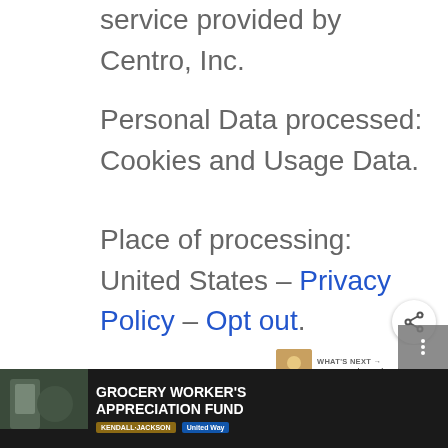service provided by Centro, Inc.
Personal Data processed: Cookies and Usage Data.
Place of processing: United States – Privacy Policy – Opt out.
33Across (33Across)
[Figure (screenshot): Share button (circular white button with share icon)]
[Figure (screenshot): What's Next panel showing thumbnail and text 'How to Make Authentic...']
[Figure (screenshot): Advertisement banner at bottom: GROCERY WORKER'S APPRECIATION FUND with Kendall-Jackson and United Way logos]